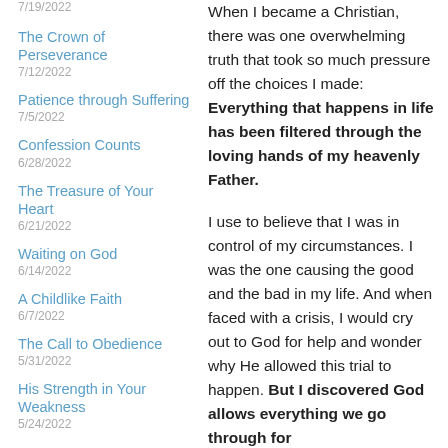7/19/2022
The Crown of Perseverance
7/12/2022
Patience through Suffering
7/5/2022
Confession Counts
6/28/2022
The Treasure of Your Heart
6/21/2022
Waiting on God
6/14/2022
A Childlike Faith
6/7/2022
The Call to Obedience
5/31/2022
His Strength in Your Weakness
5/24/2022
When I became a Christian, there was one overwhelming truth that took so much pressure off the choices I made: Everything that happens in life has been filtered through the loving hands of my heavenly Father.
I use to believe that I was in control of my circumstances. I was the one causing the good and the bad in my life. And when faced with a crisis, I would cry out to God for help and wonder why He allowed this trial to happen. But I discovered God allows everything we go through for